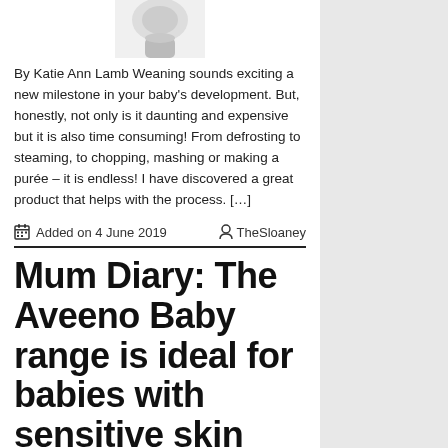[Figure (photo): Partial view of a baby product (bottle/container) shown from above, cropped at the top of the page]
By Katie Ann Lamb Weaning sounds exciting a new milestone in your baby's development. But, honestly, not only is it daunting and expensive but it is also time consuming! From defrosting to steaming, to chopping, mashing or making a purée – it is endless! I have discovered a great product that helps with the process. […]
Added on 4 June 2019   TheSloaney
Mum Diary: The Aveeno Baby range is ideal for babies with sensitive skin